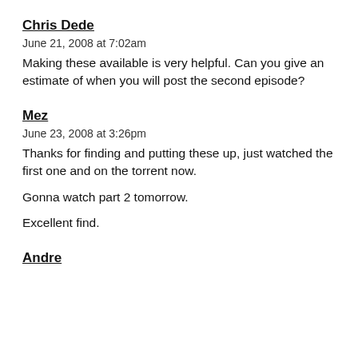Chris Dede
June 21, 2008 at 7:02am
Making these available is very helpful. Can you give an estimate of when you will post the second episode?
Mez
June 23, 2008 at 3:26pm
Thanks for finding and putting these up, just watched the first one and on the torrent now.

Gonna watch part 2 tomorrow.

Excellent find.
Andre